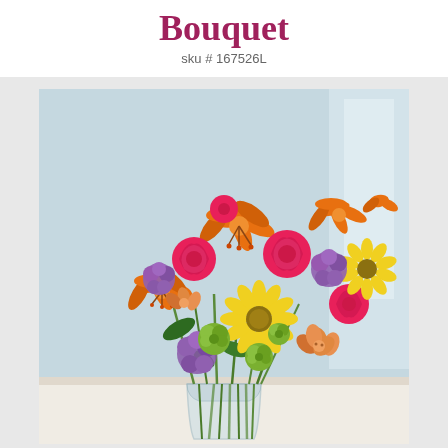Bouquet
sku # 167526L
[Figure (photo): A colorful flower bouquet in a clear glass vase featuring orange lilies, pink roses, yellow gerbera daisies, purple stock flowers, green button mums, and orange alstroemeria, photographed against a light blue background.]